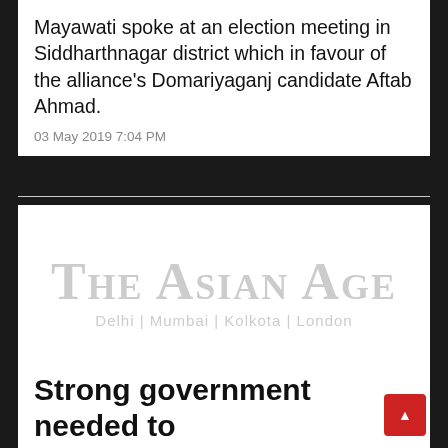Mayawati spoke at an election meeting in Siddharthnagar district which in favour of the alliance's Domariyaganj candidate Aftab Ahmad.
03 May 2019 7:04 PM
[Figure (logo): The Asian Age newspaper logo with tagline 'Delhi | Mumbai | Kolkota | London', displayed in light grey]
Strong government needed to